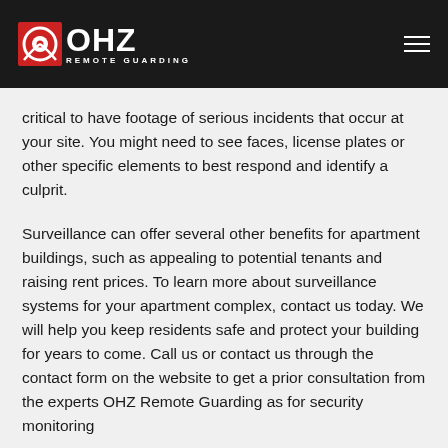OHZ REMOTE GUARDING
critical to have footage of serious incidents that occur at your site. You might need to see faces, license plates or other specific elements to best respond and identify a culprit.
Surveillance can offer several other benefits for apartment buildings, such as appealing to potential tenants and raising rent prices. To learn more about surveillance systems for your apartment complex, contact us today. We will help you keep residents safe and protect your building for years to come. Call us or contact us through the contact form on the website to get a prior consultation from the experts OHZ Remote Guarding as for security monitoring